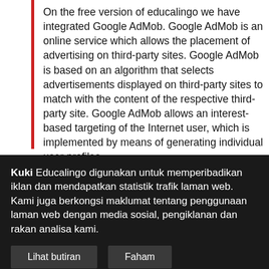On the free version of educalingo we have integrated Google AdMob. Google AdMob is an online service which allows the placement of advertising on third-party sites. Google AdMob is based on an algorithm that selects advertisements displayed on third-party sites to match with the content of the respective third-party site. Google AdMob allows an interest-based targeting of the Internet user, which is implemented by means of generating individual user profiles.
Kuki Educalingo digunakan untuk memperibadikan iklan dan mendapatkan statistik trafik laman web. Kami juga berkongsi maklumat tentang penggunaan laman web dengan media sosial, pengiklanan dan rakan analisa kami.
Lihat butiran
Faham